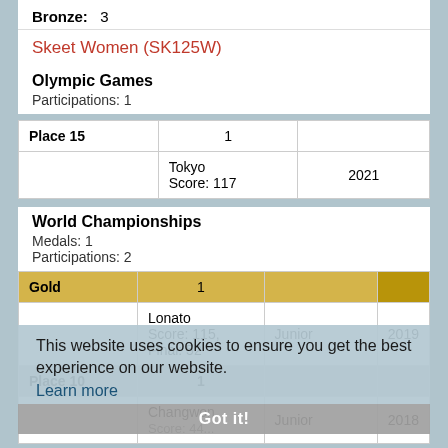Bronze: 3
Skeet Women (SK125W)
Olympic Games
Participations: 1
| Place 15 | 1 |  |
| --- | --- | --- |
|  | Tokyo
Score: 117 | 2021 |
World Championships
Medals: 1
Participations: 2
| Gold | 1 |  |  |
| --- | --- | --- | --- |
|  | Lonato
Score: 115, Final: 52 | Junior | 2019 |
| Place 10 | 1 |  |  |
|  | Changwon
Score: 44... | Junior | 2018 |